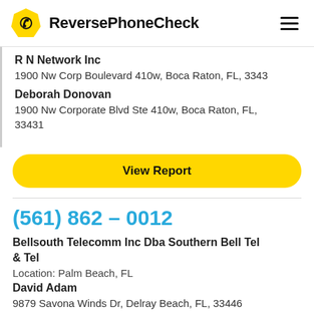ReversePhoneCheck
R N Network Inc
1900 Nw Corp Boulevard 410w, Boca Raton, FL, 3343
Deborah Donovan
1900 Nw Corporate Blvd Ste 410w, Boca Raton, FL, 33431
View Report
(561) 862 – 0012
Bellsouth Telecomm Inc Dba Southern Bell Tel & Tel
Location: Palm Beach, FL
David Adam
9879 Savona Winds Dr, Delray Beach, FL, 33446